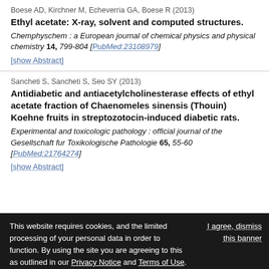Boese AD, Kirchner M, Echeverria GA, Boese R (2013)
Ethyl acetate: X-ray, solvent and computed structures.
Chemphyschem : a European journal of chemical physics and physical chemistry 14, 799-804 [PubMed:23108979]
[show Abstract]
Sancheti S, Sancheti S, Seo SY (2013)
Antidiabetic and antiacetylcholinesterase effects of ethyl acetate fraction of Chaenomeles sinensis (Thouin) Koehne fruits in streptozotocin-induced diabetic rats.
Experimental and toxicologic pathology : official journal of the Gesellschaft fur Toxikologische Pathologie 65, 55-60 [PubMed:21764274]
[show Abstract]
This website requires cookies, and the limited processing of your personal data in order to function. By using the site you are agreeing to this as outlined in our Privacy Notice and Terms of Use. I agree, dismiss this banner